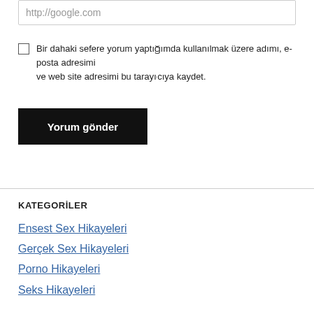http://google.com
Bir dahaki sefere yorum yaptığımda kullanılmak üzere adımı, e-posta adresimi ve web site adresimi bu tarayıcıya kaydet.
Yorum gönder
KATEGORİLER
Ensest Sex Hikayeleri
Gerçek Sex Hikayeleri
Porno Hikayeleri
Seks Hikayeleri